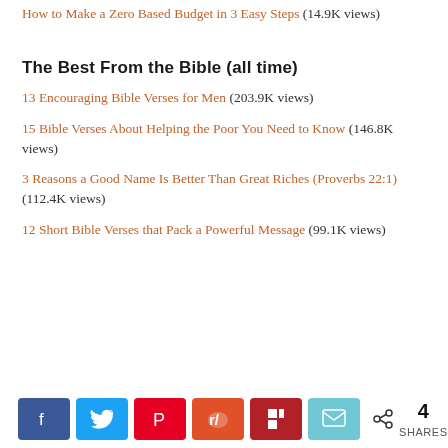How to Make a Zero Based Budget in 3 Easy Steps (14.9K views)
The Best From the Bible (all time)
13 Encouraging Bible Verses for Men (203.9K views)
15 Bible Verses About Helping the Poor You Need to Know (146.8K views)
3 Reasons a Good Name Is Better Than Great Riches (Proverbs 22:1) (112.4K views)
12 Short Bible Verses that Pack a Powerful Message (99.1K views)
4 SHARES — social share bar (Facebook, Twitter, Pinterest, Reddit, Flipboard, Email)